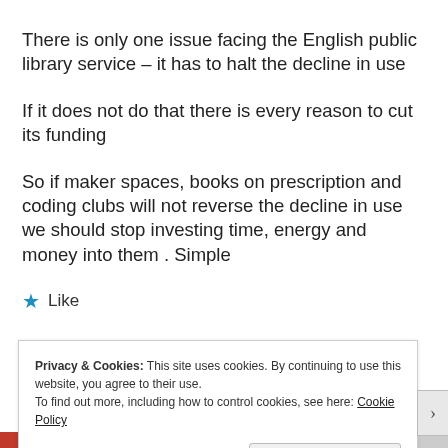There is only one issue facing the English public library service – it has to halt the decline in use
If it does not do that there is every reason to cut its funding
So if maker spaces, books on prescription and coding clubs will not reverse the decline in use we should stop investing time, energy and money into them . Simple
★ Like
Privacy & Cookies: This site uses cookies. By continuing to use this website, you agree to their use.
To find out more, including how to control cookies, see here: Cookie Policy
Close and accept